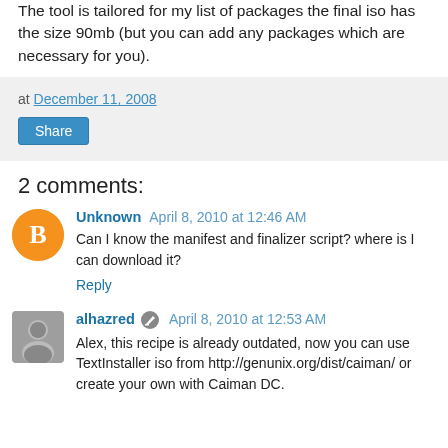The tool is tailored for my list of packages the final iso has the size 90mb (but you can add any packages which are necessary for you).
at December 11, 2008
Share
2 comments:
Unknown April 8, 2010 at 12:46 AM
Can I know the manifest and finalizer script? where is I can download it?
Reply
alhazred April 8, 2010 at 12:53 AM
Alex, this recipe is already outdated, now you can use TextInstaller iso from http://genunix.org/dist/caiman/ or create your own with Caiman DC.